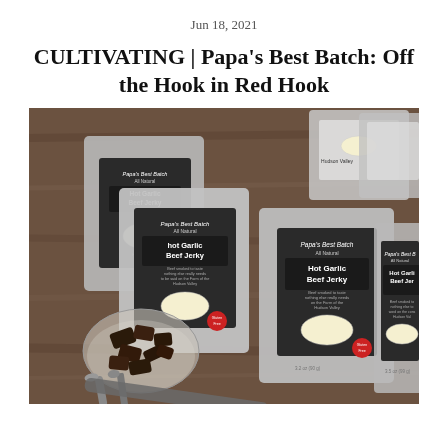Jun 18, 2021
CULTIVATING | Papa’s Best Batch: Off the Hook in Red Hook
[Figure (photo): Multiple packages of Papa's Best Batch Hot Garlic Beef Jerky on a wooden table, with a small bowl of jerky pieces and two spoons in the foreground]